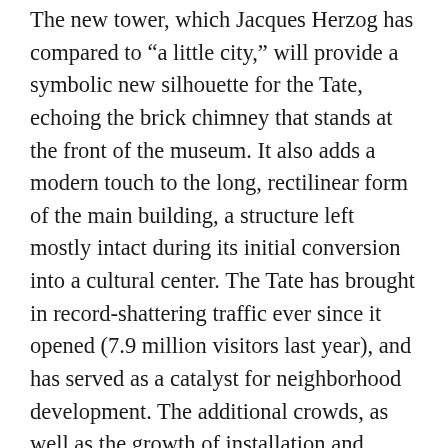The new tower, which Jacques Herzog has compared to "a little city," will provide a symbolic new silhouette for the Tate, echoing the brick chimney that stands at the front of the museum. It also adds a modern touch to the long, rectilinear form of the main building, a structure left mostly intact during its initial conversion into a cultural center. The Tate has brought in record-shattering traffic ever since it opened (7.9 million visitors last year), and has served as a catalyst for neighborhood development. The additional crowds, as well as the growth of installation and media art, made an expansion, and the addition of a new kind of display space, a priority for the institution.